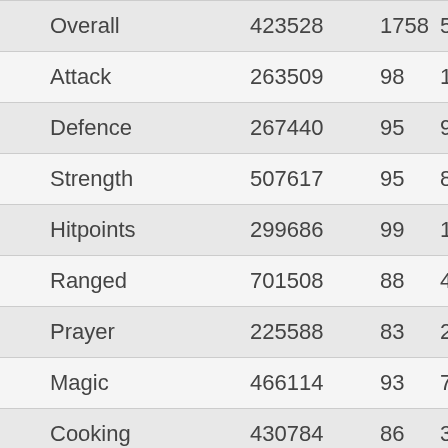| Skill | XP | Level | Rank |
| --- | --- | --- | --- |
| Overall | 423528 | 1758 | 55,… |
| Attack | 263509 | 98 | 12,6… |
| Defence | 267440 | 95 | 9,0… |
| Strength | 507617 | 95 | 8,8… |
| Hitpoints | 299686 | 99 | 15,2… |
| Ranged | 701508 | 88 | 4,3… |
| Prayer | 225588 | 83 | 2,6… |
| Magic | 466114 | 93 | 7,8… |
| Cooking | 430784 | 86 | 3,8… |
| Woodcutting | 476499 | 78 | 1,7… |